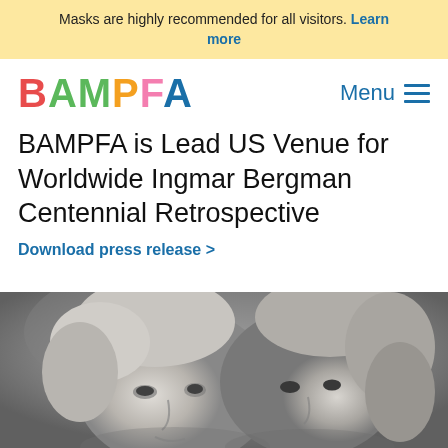Masks are highly recommended for all visitors. Learn more
[Figure (logo): BAMPFA colorful logo with letters B(red), A(green), M(green), P(green), F(orange), A(pink)]
BAMPFA is Lead US Venue for Worldwide Ingmar Bergman Centennial Retrospective
Download press release >
[Figure (photo): Black and white photograph showing two people's faces close together, one with light/blonde hair in the foreground]